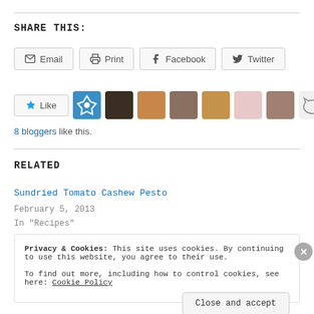Share This:
Email  Print  Facebook  Twitter
[Figure (other): Like button with star icon and blogger avatar thumbnails]
8 bloggers like this.
Related
Sundried Tomato Cashew Pesto
February 5, 2013
In "Recipes"
Privacy & Cookies: This site uses cookies. By continuing to use this website, you agree to their use.
To find out more, including how to control cookies, see here: Cookie Policy
Close and accept